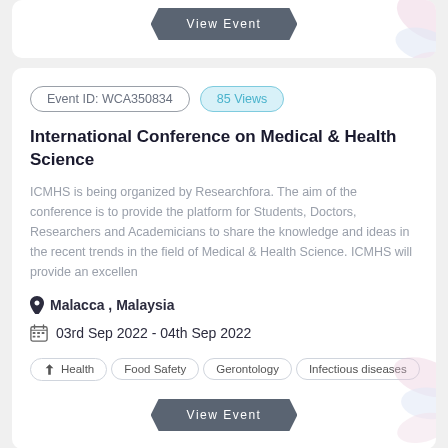View Event
Event ID: WCA350834
85 Views
International Conference on Medical & Health Science
ICMHS is being organized by Researchfora. The aim of the conference is to provide the platform for Students, Doctors, Researchers and Academicians to share the knowledge and ideas in the recent trends in the field of Medical & Health Science. ICMHS will provide an excellen
Malacca , Malaysia
03rd Sep 2022 - 04th Sep 2022
Health
Food Safety
Gerontology
Infectious diseases
View Event